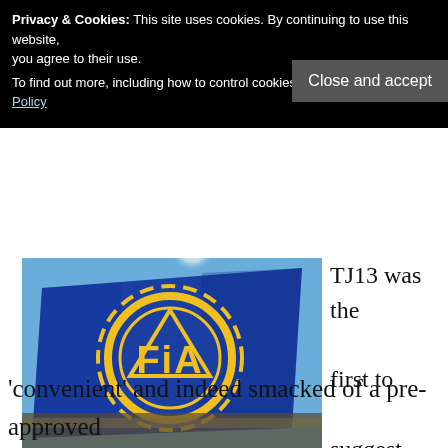financial backing and a proper intent to enter F1. All t
Privacy & Cookies: This site uses cookies. By continuing to use this website, you agree to their use.
To find out more, including how to control cookies, see here: Cookie Policy
Close and accept
[Figure (photo): FIA flag — blue flag with yellow FIA logo/emblem, photographed outdoors against a bright sky]
TJ13 was the first to suggest, this process was
'convenient' and indeed smacked of a pre-approved applicant, who would now in effect be agreed on a nod of the head. Further, TJ13 sources in Italy at the